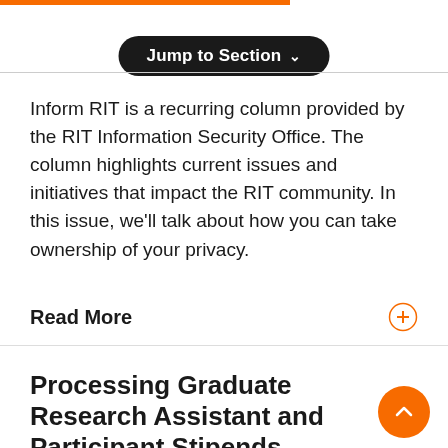[Figure (other): Orange horizontal bar at top of page]
[Figure (other): Black rounded button with text 'Jump to Section' and a downward chevron]
Inform RIT is a recurring column provided by the RIT Information Security Office. The column highlights current issues and initiatives that impact the RIT community. In this issue, we'll talk about how you can take ownership of your privacy.
Read More
Processing Graduate Research Assistant and Participant Stipends